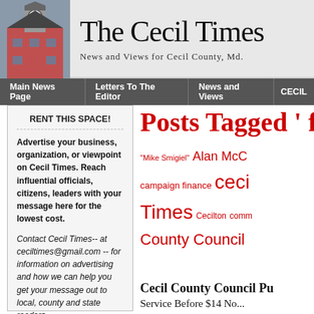[Figure (photo): Clock tower building photo used as newspaper masthead image on the left side of the header]
The Cecil Times
News and Views for Cecil County, Md.
Main News Page | Letters To The Editor | News and Views | CECIL
RENT THIS SPACE!

Advertise your business, organization, or viewpoint on Cecil Times. Reach influential officials, citizens, leaders with your message here for the lowest cost.

Contact Cecil Times-- at ceciltimes@gmail.com -- for information on advertising and how we can help you get your message out to local, county and state readers.
Posts Tagged ' f
"Mike Smigiel" Alan McC campaign finance ceci Times Cecilton comm County Council Schneckenburger delega election Elections Eltko mullin jim mullin Joyce Smigiel news Politics s
Cecil County Council Pu
Service Before $14 No...